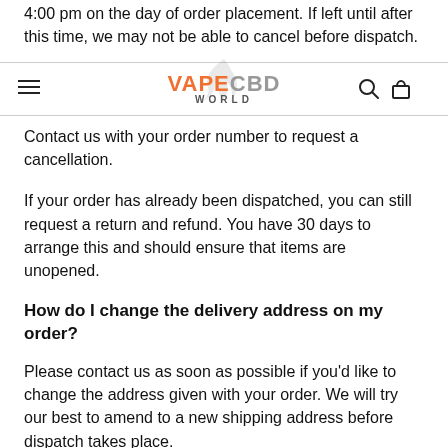4:00 pm on the day of order placement. If left until after this time, we may not be able to cancel before dispatch.
VAPE CBD WORLD
Contact us with your order number to request a cancellation.
If your order has already been dispatched, you can still request a return and refund. You have 30 days to arrange this and should ensure that items are unopened.
How do I change the delivery address on my order?
Please contact us as soon as possible if you'd like to change the address given with your order. We will try our best to amend to a new shipping address before dispatch takes place.
If your order has already been dispatched (you